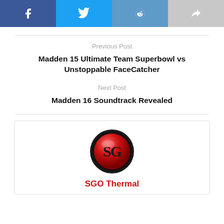[Figure (other): Social share buttons: Facebook (blue), Twitter (light blue), Reddit (blue), Share (gray)]
Previous Post
Madden 15 Ultimate Team Superbowl vs Unstoppable FaceCatcher
Next Post
Madden 16 Soundtrack Revealed
[Figure (logo): SGO Thermal logo: red glossy circular button with letter S and G in dark stylized font on black background]
SGO Thermal